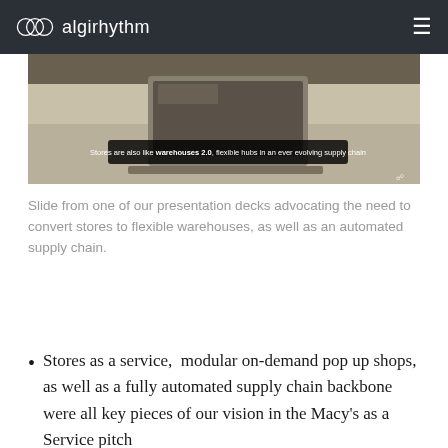algirhythm
[Figure (screenshot): A slide from a presentation deck showing a warehouse/store interior with a caption overlay reading: 'Stores are also like warehouses 2.0, flexible hubs in an ever evolving supply chain']
Slide from one of our presentation decks advocating the need to convert stores to flexible warehouses, as well as an automated supply chain.
Stores as a service,  modular on-demand pop up shops, as well as a fully automated supply chain backbone were all key pieces of our vision in the Macy's as a Service pitch